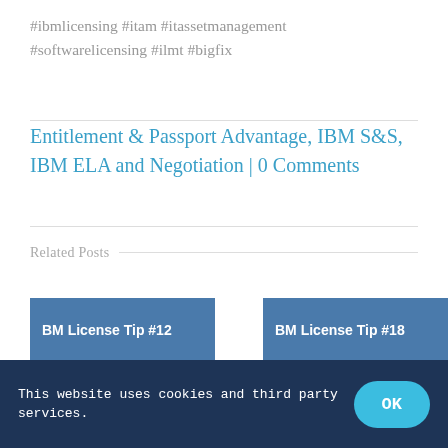#ibmlicensing #itam #itassetmanagement #softwarelicensing #ilmt #bigfix
Entitlement & Passport Advantage, IBM S&S, IBM ELA and Negotiation | 0 Comments
Related Posts
[Figure (other): Card with text: IBM License Tip #12]
[Figure (other): Card with text: IBM License Tip #18]
This website uses cookies and third party services.